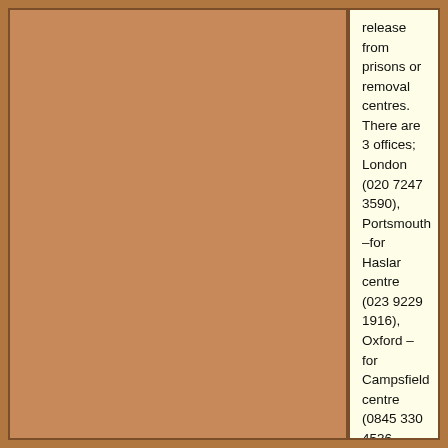release from prisons or removal centres. There are 3 offices; London (020 7247 3590), Portsmouth –for Haslar centre (023 9229 1916), Oxford – for Campsfield centre (0845 330 4536
(3) This leaflet has been produced by
(a) No-One Is Illegal. No-One Is Illegal has produced a manifesto against controls in English, Spanish, French and German. It is part of an international network of similar organisations. It has a